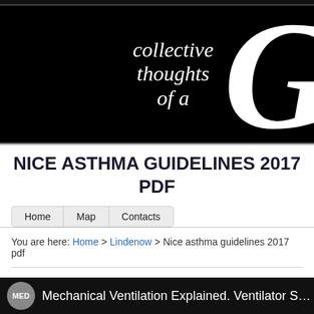[Figure (illustration): Black banner header with decorative italic script text reading 'collective thoughts of a' and a large decorative letter G on the right]
NICE ASTHMA GUIDELINES 2017 PDF
Home   Map   Contacts
You are here: Home > Lindenow > Nice asthma guidelines 2017 pdf
[Figure (illustration): Bottom dark strip with MED badge circle and text 'Mechanical Ventilation Explained. Ventilator S...']